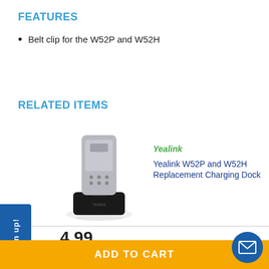FEATURES
Belt clip for the W52P and W52H
RELATED ITEMS
[Figure (photo): Yealink W52P handset placed in a black charging dock, with a reflection below]
Yealink  Yealink W52P and W52H Replacement Charging Dock
4.99
ADD TO CART
Sign up!